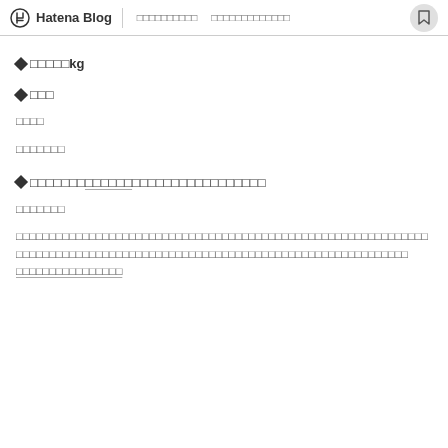Hatena Blog
◆□□□□□kg
◆□□□
□□□□
□□□□□□□
◆□□□□□□□□□□□□□□□□□□□□□□□□□
□□□□□□□
□□□□□□□□□□□□□□□□□□□□□□□□□□□□□□□□□□□□□□□□□□□□□□□□□□□□□□□□□□□□□□□□□□□□□□□□□□□□□□□□□□□□□□□□□□□□□□□□□□□□□□□□□□□□□□□□□□□□□□□□□□□